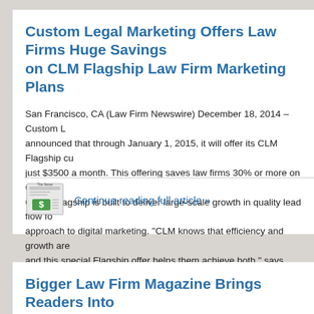Custom Legal Marketing Offers Law Firms Huge Savings on CLM Flagship Law Firm Marketing Plans
San Francisco, CA (Law Firm Newswire) December 18, 2014 – Custom L... announced that through January 1, 2015, it will offer its CLM Flagship cu... just $3500 a month. This offering saves law firms 30% or more on CLM's... CLM's Flagship is built to deliver large-scale growth in quality lead flow fo... approach to digital marketing. "CLM knows that efficiency and growth are... and this special Flagship offer helps them achieve both," says Jason Bla...
[Figure (illustration): News article icon — green dollar sign on newspaper image]
Continue reading full article »
Bigger Law Firm Magazine Brings Readers Into Founder's Office to Demystify the Future of Li...